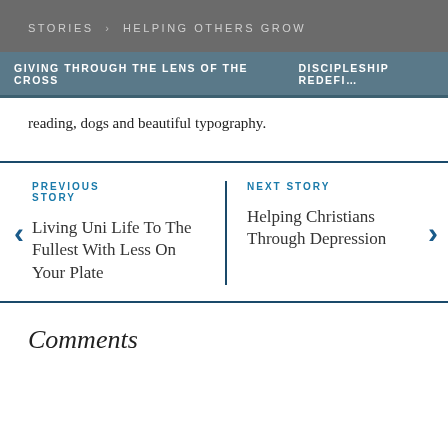STORIES > HELPING OTHERS GROW
GIVING THROUGH THE LENS OF THE CROSS   DISCIPLESHIP REDEFI…
reading, dogs and beautiful typography.
PREVIOUS STORY

Living Uni Life To The Fullest With Less On Your Plate
NEXT STORY

Helping Christians Through Depression
Comments